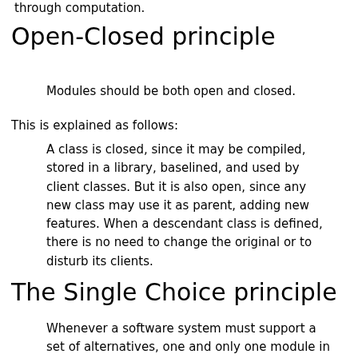through computation.
Open-Closed principle
Modules should be both open and closed.
This is explained as follows:
A class is closed, since it may be compiled, stored in a library, baselined, and used by client classes. But it is also open, since any new class may use it as parent, adding new features. When a descendant class is defined, there is no need to change the original or to disturb its clients.
The Single Choice principle
Whenever a software system must support a set of alternatives, one and only one module in the system should know their exhaustive list.